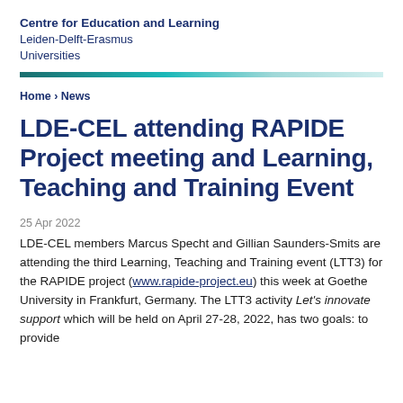Centre for Education and Learning
Leiden-Delft-Erasmus Universities
Home › News
LDE-CEL attending RAPIDE Project meeting and Learning, Teaching and Training Event
25 Apr 2022
LDE-CEL members Marcus Specht and Gillian Saunders-Smits are attending the third Learning, Teaching and Training event (LTT3) for the RAPIDE project (www.rapide-project.eu) this week at Goethe University in Frankfurt, Germany. The LTT3 activity Let's innovate support which will be held on April 27-28, 2022, has two goals: to provide